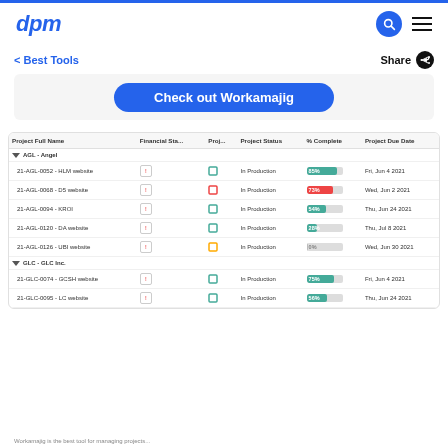dpm
< Best Tools    Share
[Figure (screenshot): Blue CTA button reading 'Check out Workamajig' on a light grey background]
| Project Full Name | Financial Sta... | Proj... | Project Status | % Complete | Project Due Date |
| --- | --- | --- | --- | --- | --- |
| AGL - Angel |  |  |  |  |  |
| 21-AGL-0052 - HLM website | ! | ☐ | In Production | 85% | Fri, Jun 4 2021 |
| 21-AGL-0068 - D5 website | ! | ☐ | In Production | 73% | Wed, Jun 2 2021 |
| 21-AGL-0094 - KROI | ! | ☐ | In Production | 54% | Thu, Jun 24 2021 |
| 21-AGL-0120 - DA website | ! | ☐ | In Production | 28% | Thu, Jul 8 2021 |
| 21-AGL-0126 - UBI website | ! | ☐ | In Production | 0% | Wed, Jun 30 2021 |
| GLC - GLC Inc. |  |  |  |  |  |
| 21-GLC-0074 - GCSH website | ! | ☐ | In Production | 75% | Fri, Jun 4 2021 |
| 21-GLC-0095 - LC website | ! | ☐ | In Production | 56% | Thu, Jun 24 2021 |
Workamajig is the best tool for managing projects...